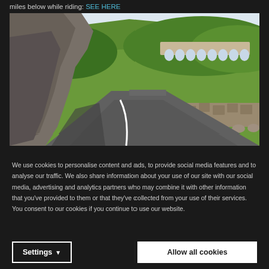miles below while riding: SEE HERE
[Figure (photo): A winding mountain road with rocky cliffs on the left side and a stone arched viaduct/bridge visible on the hillside in the background, surrounded by green forested mountains. The road curves into the distance with a white road marking line visible.]
We use cookies to personalise content and ads, to provide social media features and to analyse our traffic. We also share information about your use of our site with our social media, advertising and analytics partners who may combine it with other information that you've provided to them or that they've collected from your use of their services. You consent to our cookies if you continue to use our website.
Settings ▼
Allow all cookies